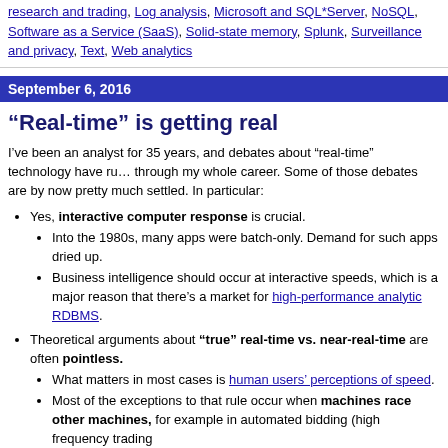research and trading, Log analysis, Microsoft and SQL*Server, NoSQL, Software as a Service (SaaS), Solid-state memory, Splunk, Surveillance and privacy, Text, Web analytics
September 6, 2016
“Real-time” is getting real
I’ve been an analyst for 35 years, and debates about “real-time” technology have run through my whole career. Some of those debates are by now pretty much settled. In particular:
Yes, interactive computer response is crucial.
Into the 1980s, many apps were batch-only. Demand for such apps dried up.
Business intelligence should occur at interactive speeds, which is a major reason that there’s a market for high-performance analytic RDBMS.
Theoretical arguments about “true” real-time vs. near-real-time are often pointless.
What matters in most cases is human users’ perceptions of speed.
Most of the exceptions to that rule occur when machines race other machines, for example in automated bidding (high frequency trading